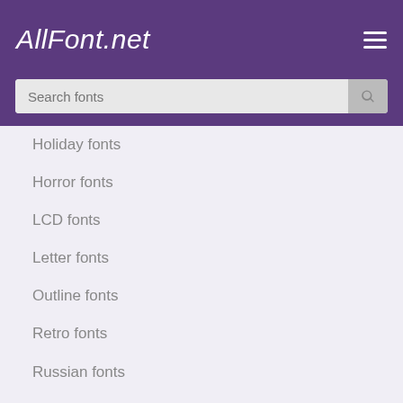AllFont.net
Holiday fonts
Horror fonts
LCD fonts
Letter fonts
Outline fonts
Retro fonts
Russian fonts
Sans-Serif fonts
Scratched fonts
Stencil fonts
Unusual fonts
Vintage fonts